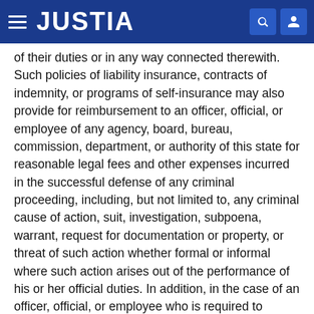JUSTIA
of their duties or in any way connected therewith. Such policies of liability insurance, contracts of indemnity, or programs of self-insurance may also provide for reimbursement to an officer, official, or employee of any agency, board, bureau, commission, department, or authority of this state for reasonable legal fees and other expenses incurred in the successful defense of any criminal proceeding, including, but not limited to, any criminal cause of action, suit, investigation, subpoena, warrant, request for documentation or property, or threat of such action whether formal or informal where such action arises out of the performance of his or her official duties. In addition, in the case of an officer, official, or employee who is required to maintain a professional license, such reimbursement may also